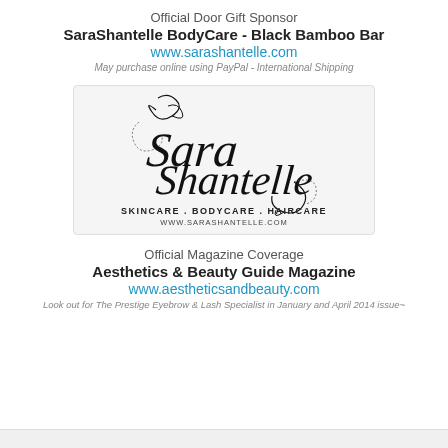Official Door Gift Sponsor
SaraShantelle BodyCare - Black Bamboo Bar
www.sarashantelle.com
May purchase online using PayPal - International Shipping
[Figure (logo): Sara Shantelle logo with cursive script text and tagline: SkinCare . BodyCare . HairCare www.sarashantelle.com]
Official Magazine Coverage
Aesthetics & Beauty Guide Magazine
www.aestheticsandbeauty.com
Look out for The Prestige Eyebrow & Lash Specialist in January and April 2014 issue~